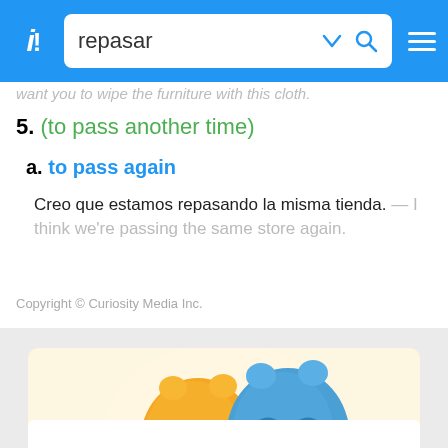repasar
want you to wipe the furniture with this cloth.
5. (to pass another time)
a. to pass again
Creo que estamos repasando la misma tienda. — I think we're passing the same store again.
Copyright © Curiosity Media Inc.
[Figure (illustration): Two theatre masks (comedy and tragedy) in yellow/orange and blue, on a yellow tinted background, with text 'Translate on the go!']